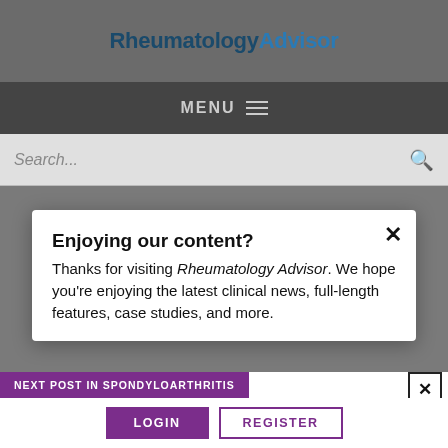RheumatologyAdvisor
MENU ≡
Search...
Enjoying our content?
Thanks for visiting Rheumatology Advisor. We hope you're enjoying the latest clinical news, full-length features, case studies, and more.
NEXT POST IN SPONDYLOARTHRITIS
Increased HLA-B27 Associated With More Severe Sonographic Enthesitis in PsA
LOGIN   REGISTER